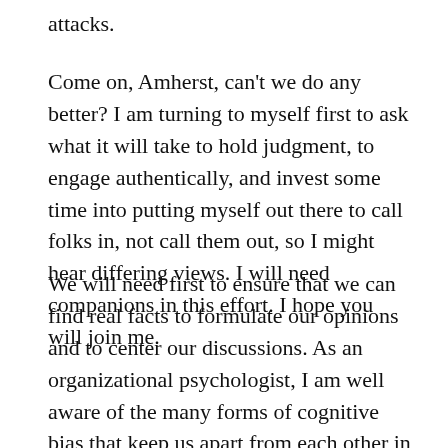attacks.
Come on, Amherst, can't we do any better? I am turning to myself first to ask what it will take to hold judgment, to engage authentically, and invest some time into putting myself out there to call folks in, not call them out, so I might hear differing views. I will need companions in this effort. I hope you will join me.
We will need first to ensure that we can find real facts to formulate our opinions and to center our discussions. As an organizational psychologist, I am well aware of the many forms of cognitive bias that keep us apart from each other in civil life. We tend to find facts that align with what we already think we know. We simplify and center other people's comments based on our own egos and sense of